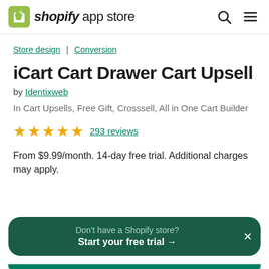shopify app store
Store design | Conversion
iCart Cart Drawer Cart Upsell
by Identixweb
In Cart Upsells, Free Gift, Crosssell, All in One Cart Builder
★★★★★ 293 reviews
From $9.99/month. 14-day free trial. Additional charges may apply.
Don't have a Shopify store? Start your free trial →